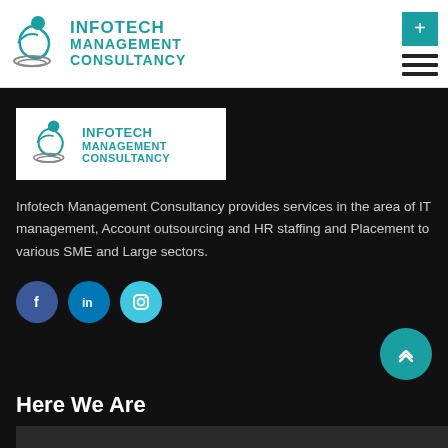[Figure (logo): Infotech Management Consultancy logo in header - teal figure icon with teal text]
[Figure (logo): Infotech Management Consultancy logo in white box on dark background]
Infotech Management Consultancy provides services in the area of IT management, Account outsourcing and HR staffing and Placement to various SME and Large sectors.
[Figure (infographic): Social media icons: Facebook (blue circle), LinkedIn (blue circle), Instagram (teal circle)]
Here We Are